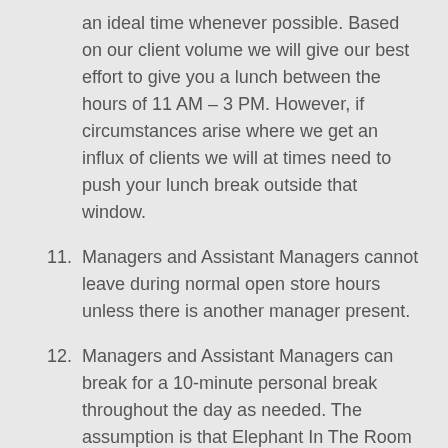an ideal time whenever possible. Based on our client volume we will give our best effort to give you a lunch between the hours of 11 AM – 3 PM. However, if circumstances arise where we get an influx of clients we will at times need to push your lunch break outside that window.
11. Managers and Assistant Managers cannot leave during normal open store hours unless there is another manager present.
12. Managers and Assistant Managers can break for a 10-minute personal break throughout the day as needed. The assumption is that Elephant In The Room can trust the judgment of a Manager not to leave their post during the workday, unless they truly have a pressing need.
13. Management will determine on a case-by-case